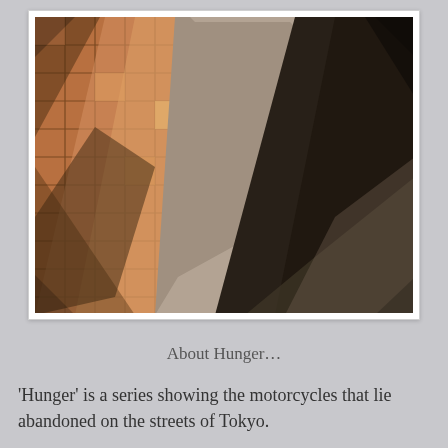[Figure (photo): A photograph of a tiled sidewalk with brick-colored square tiles illuminated by sunlight and shadows, next to a concrete curb bordering a dark asphalt road. Tree shadows are cast across the tiles.]
About Hunger…
'Hunger' is a series showing the motorcycles that lie abandoned on the streets of Tokyo.